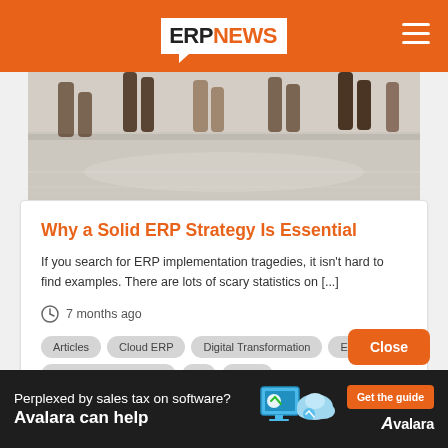ERP NEWS
[Figure (photo): Photo of people's feet and legs visible from below a table or in a conference room setting, with a light-colored floor.]
Why a Solid ERP Strategy Is Essential
If you search for ERP implementation tragedies, it isn't hard to find examples. There are lots of scary statistics on [...]
7 months ago
Articles
Cloud ERP
Digital Transformation
ERP
IoT - Internet of Things
IT
News
Close
Perplexed by sales tax on software? Avalara can help